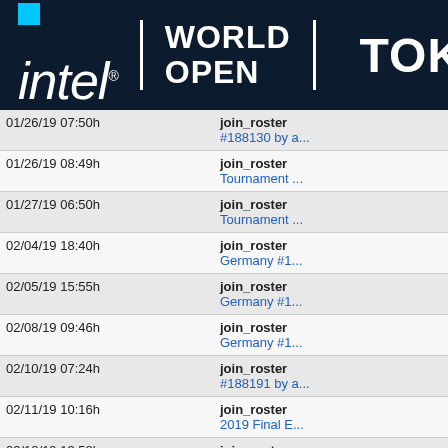[Figure (logo): Intel World Open Tokyo event logo on dark navy background with Intel logo, 'WORLD OPEN' text, divider, and 'TOKYO' text]
| Date/Time |  | Action |
| --- | --- | --- |
| 01/26/19 07:50h |  | join_roster ... #188130 by a... |
| 01/26/19 08:49h |  | join_roster ... Tournament ... |
| 01/27/19 06:50h |  | join_roster ... Tournament ... |
| 02/04/19 18:40h |  | join_roster ... Germany #1... |
| 02/05/19 15:55h |  | join_roster ... Germany #1... |
| 02/08/19 09:46h |  | join_roster ... Germany #1... |
| 02/10/19 07:24h |  | join_roster ... #188191 by a... |
| 02/11/19 10:16h |  | join_roster ... 2019 Final E... |
| 02/12/19 13:58h |  | join_roster ... Matchday #1... |
| 02/19/19 15:09h |  | join_roster ... Matchday #2... |
| 02/22/19 13:42h |  | join_roster ... #188193 by ... |
| 03/04/19 08:40h |  | join_roster ... Tournament ... |
| 03/05/19 16:41h |  | join_roster ... Matchday #3... |
| 03/14/19 13:10h |  | join_roster ... Matchday #4... |